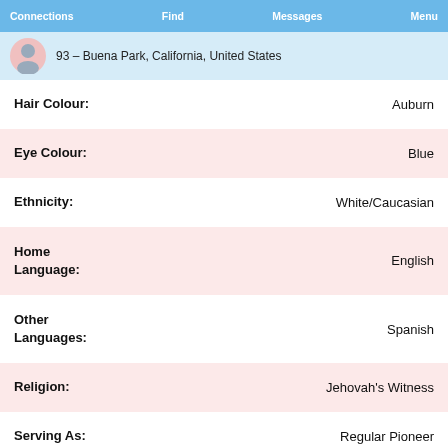Connections  Find  Messages  Menu
93 – Buena Park, California, United States
| Field | Value |
| --- | --- |
| Hair Colour: | Auburn |
| Eye Colour: | Blue |
| Ethnicity: | White/Caucasian |
| Home Language: | English |
| Other Languages: | Spanish |
| Religion: | Jehovah's Witness |
| Serving As: | Regular Pioneer |